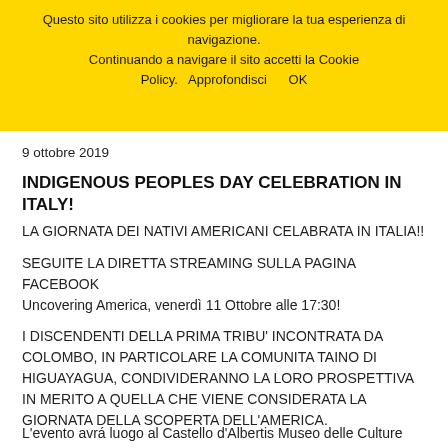Questo sito utilizza i cookies per migliorare la tua esperienza di navigazione. Continuando a navigare il sito accetti la Cookie Policy.   Approfondisci       OK
9 ottobre 2019
INDIGENOUS PEOPLES DAY CELEBRATION IN ITALY!
LA GIORNATA DEI NATIVI AMERICANI CELABRATA IN ITALIA!!
SEGUITE LA DIRETTA STREAMING SULLA PAGINA FACEBOOK Uncovering America, venerdì 11 Ottobre alle 17:30!
I DISCENDENTI DELLA PRIMA TRIBU' INCONTRATA DA COLOMBO, IN PARTICOLARE LA COMUNITA TAINO DI HIGUAYAGUA, CONDIVIDERANNO LA LORO PROSPETTIVA IN MERITO A QUELLA CHE VIENE CONSIDERATA LA GIORNATA DELLA SCOPERTA DELL'AMERICA.
L'evento avrá luogo al Castello d'Albertis Museo delle Culture